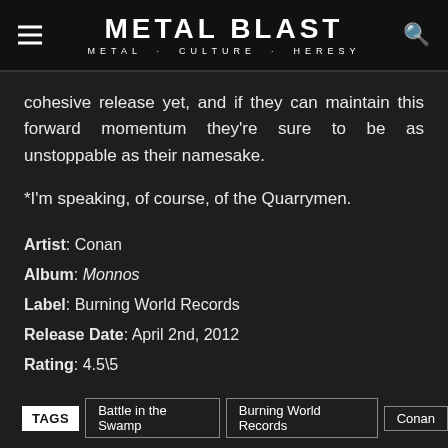METAL BLAST METAL · CULTURE · HERESY
cohesive release yet, and if they can maintain this forward momentum they're sure to be as unstoppable as their namesake.
*I'm speaking, of course, of the Quarrymen.
Artist: Conan
Album: Monnos
Label: Burning World Records
Release Date: April 2nd, 2012
Rating: 4.5\5
TAGS   Battle in the Swamp   Burning World Records   Conan